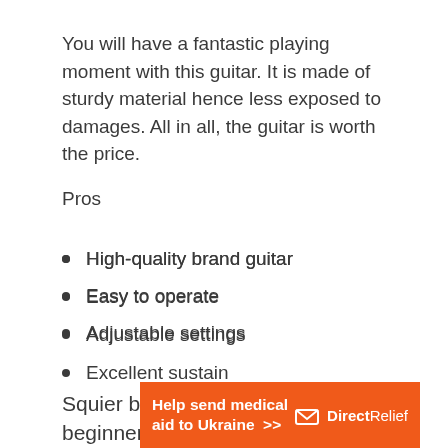You will have a fantastic playing moment with this guitar. It is made of sturdy material hence less exposed to damages. All in all, the guitar is worth the price.
Pros
High-quality brand guitar
Easy to operate
Adjustable settings
Excellent sustain
Squier by Fender Bullet Stratocaster beginner hard tail electric guitar
[Figure (infographic): Orange advertisement banner for Direct Relief: 'Help send medical aid to Ukraine >>' with Direct Relief logo on the right]